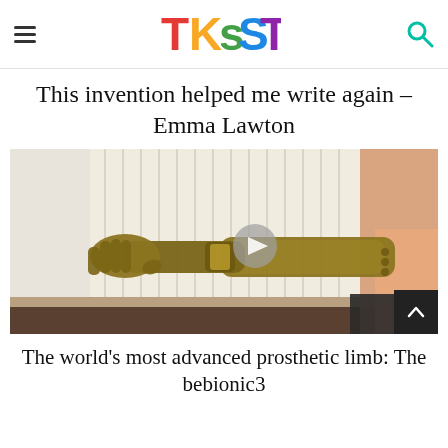TKSST (logo) with hamburger menu and search icon
This invention helped me write again – Emma Lawton
[Figure (photo): A person wearing a gold/bronze colored bionic arm prosthetic, the bebionic3, extended outward. Background shows vertical venetian blinds in a bright room.]
The world's most advanced prosthetic limb: The bebionic3